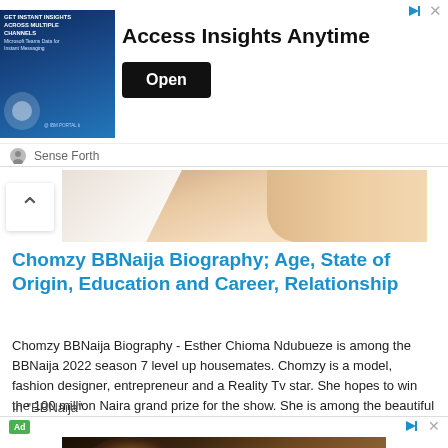[Figure (screenshot): Advertisement banner: image on left showing Microsoft Teams product with text 'GET INSTANT INSIGHTS ACROSS MULTIPLE CHANNELS', large text 'Access Insights Anytime', black Open button, sponsored by 'Sense Forth']
[Figure (photo): Partial photo of a person wearing white clothing, close-up torso/shoulder area with skin visible]
Chomzy BBNaija Biography; Age, State of Origin, Education and Career, Relationship
Chomzy BBNaija Biography - Esther Chioma Ndubueze is among the BBNaija 2022 season 7 level up housemates. Chomzy is a model, fashion designer, entrepreneur and a Reality Tv star. She hopes to win the 100 million Naira grand prize for the show. She is among the beautiful ladies in this…
In "BBNaija"
[Figure (photo): Bottom advertisement banner showing a person's head/face in dark lighting]